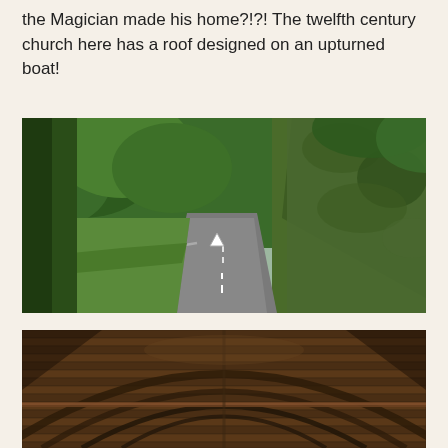the Magician made his home?!?! The twelfth century church here has a roof designed on an upturned boat!
[Figure (photo): A winding rural road flanked by dense green trees and foliage on both sides; a steep ivy-covered embankment rises on the right, and a metal guardrail is visible on the left. Overcast sky visible through the tree canopy.]
[Figure (photo): Interior view of a wooden church roof designed to resemble the hull of an upturned boat, with curved wooden arches and planking visible from below.]